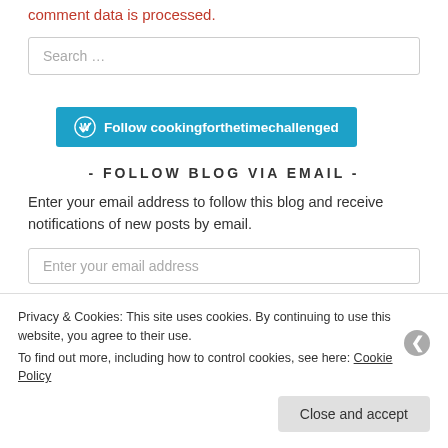comment data is processed.
Search …
Follow cookingforthetimechallenged
- FOLLOW BLOG VIA EMAIL -
Enter your email address to follow this blog and receive notifications of new posts by email.
Enter your email address
Privacy & Cookies: This site uses cookies. By continuing to use this website, you agree to their use. To find out more, including how to control cookies, see here: Cookie Policy
Close and accept